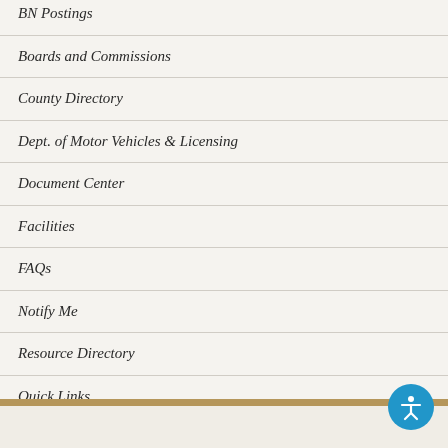BN Postings
Boards and Commissions
County Directory
Dept. of Motor Vehicles & Licensing
Document Center
Facilities
FAQs
Notify Me
Resource Directory
Quick Links
Social Media Center